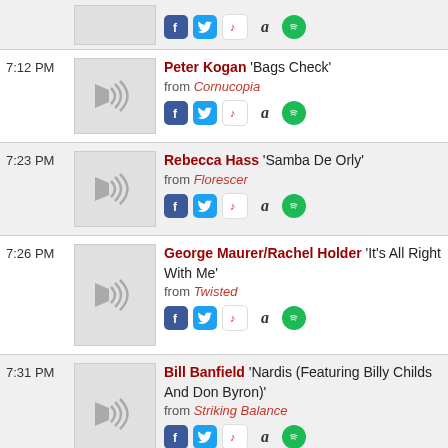(top partial row with icons only)
7:12 PM - Peter Kogan 'Bags Check' from Cornucopia
7:23 PM - Rebecca Hass 'Samba De Orly' from Florescer
7:26 PM - George Maurer/Rachel Holder 'It's All Right With Me' from Twisted
7:31 PM - Bill Banfield 'Nardis (Featuring Billy Childs And Don Byron)' from Striking Balance
7:36 PM - Dirty Shorts Brass Band 'Funky ...